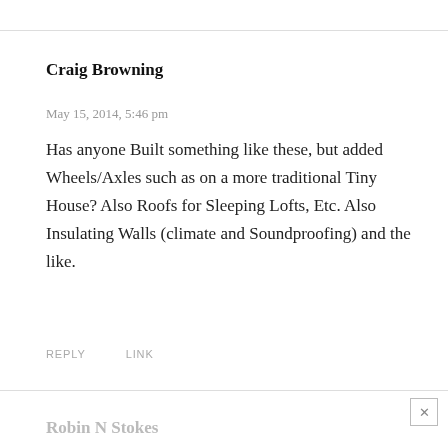Craig Browning
May 15, 2014, 5:46 pm
Has anyone Built something like these, but added Wheels/Axles such as on a more traditional Tiny House? Also Roofs for Sleeping Lofts, Etc. Also Insulating Walls (climate and Soundproofing) and the like.
REPLY   LINK
Robin N Stokes